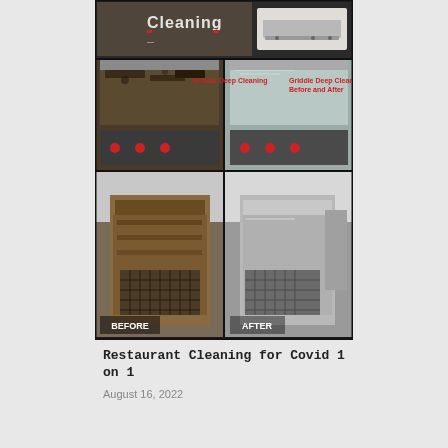[Figure (photo): A collage of before and after photos of restaurant kitchen equipment deep cleaning. Top section shows a griddle with text 'Cleaning' overlay and a product image. Middle section shows gridle deep cleaning before and after with text 'Griddle Deep Cleaning Before and After'. Bottom section shows a deep fryer before (heavily soiled/rusty) and after (clean stainless steel) with 'BEFORE' and 'AFTER' labels.]
Restaurant Cleaning for Covid 1 on 1
August 16, 2022